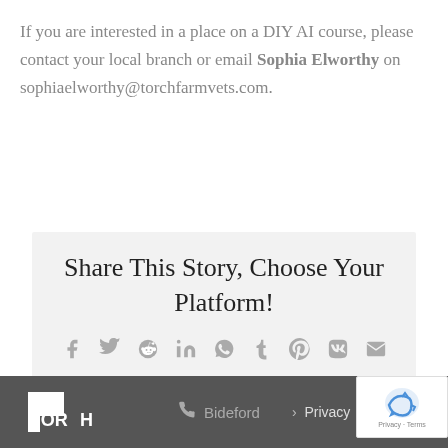If you are interested in a place on a DIY AI course, please contact your local branch or email Sophia Elworthy on sophiaelworthy@torchfarmvets.com.
Share This Story, Choose Your Platform!
[Figure (infographic): Social media sharing icons: Facebook, Twitter, Reddit, LinkedIn, WhatsApp, Tumblr, Pinterest, VK, Email]
TORCH logo | phone icon | Bideford | > Privacy